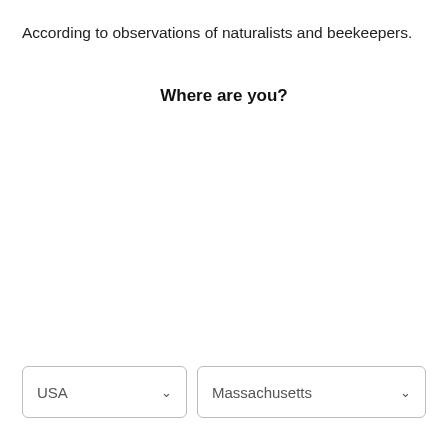According to observations of naturalists and beekeepers.
Where are you?
USA  Massachusetts